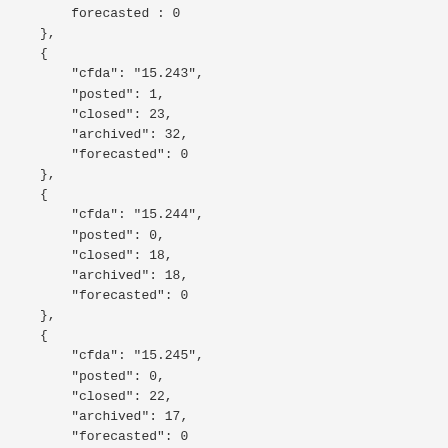forecasted : 0
},
{
    "cfda": "15.243",
    "posted": 1,
    "closed": 23,
    "archived": 32,
    "forecasted": 0
},
{
    "cfda": "15.244",
    "posted": 0,
    "closed": 18,
    "archived": 18,
    "forecasted": 0
},
{
    "cfda": "15.245",
    "posted": 0,
    "closed": 22,
    "archived": 17,
    "forecasted": 0
},
{
    "cfda": "15.246",
    "posted": 0,
    "closed": 19,